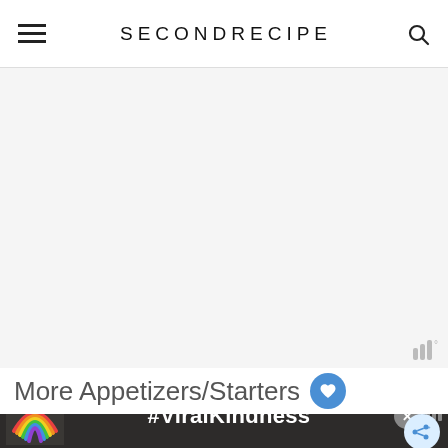SECONDRECIPE
[Figure (other): Blank advertisement area with Mediavine badge]
More Appetizers/Starters
[Figure (photo): Two food photos side by side: left shows green herbs/plants with purple background, right shows cheesy toast/pizza slices with colorful toppings]
[Figure (other): Bottom advertisement banner with rainbow graphic and #ViralKindness hashtag text]